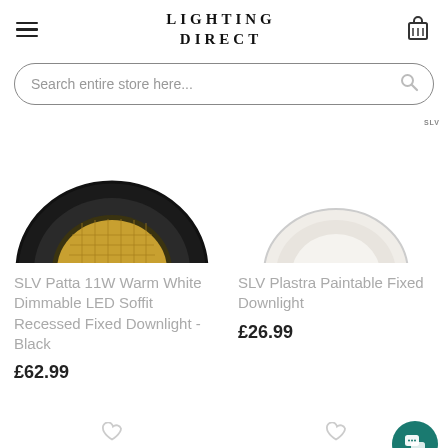LIGHTING DIRECT
Search entire store here...
[Figure (photo): SLV black round recessed LED downlight viewed from above, showing warm gold LED array inside black circular trim, partially cropped at bottom]
[Figure (photo): SLV white paintable recessed fixed downlight viewed from above, showing white circular trim, partially cropped at bottom. SLV brand logo visible top right.]
SLV Patta 11W Warm White Dimmable LED Soffit Recessed Fixed Downlight - Black
£62.99
SLV Plastra Paintable Fixed Downlight
£26.99